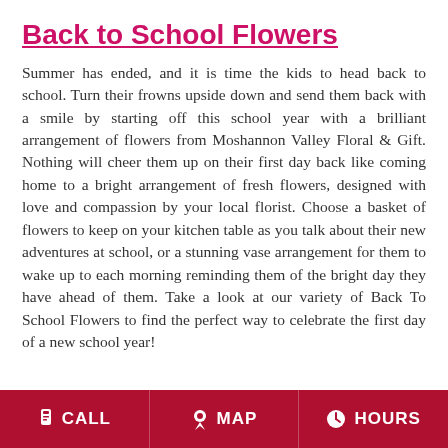Back to School Flowers
Summer has ended, and it is time the kids to head back to school. Turn their frowns upside down and send them back with a smile by starting off this school year with a brilliant arrangement of flowers from Moshannon Valley Floral & Gift. Nothing will cheer them up on their first day back like coming home to a bright arrangement of fresh flowers, designed with love and compassion by your local florist. Choose a basket of flowers to keep on your kitchen table as you talk about their new adventures at school, or a stunning vase arrangement for them to wake up to each morning reminding them of the bright day they have ahead of them. Take a look at our variety of Back To School Flowers to find the perfect way to celebrate the first day of a new school year!
CALL   MAP   HOURS